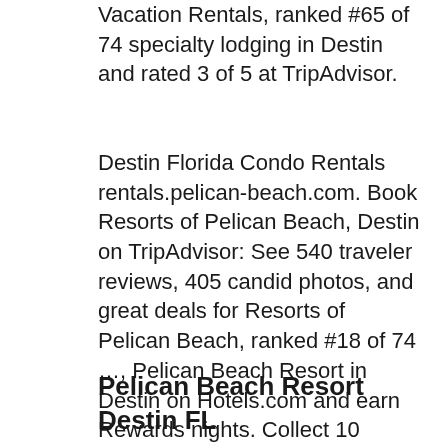Vacation Rentals, ranked #65 of 74 specialty lodging in Destin and rated 3 of 5 at TripAdvisor.
Destin Florida Condo Rentals rentals.pelican-beach.com. Book Resorts of Pelican Beach, Destin on TripAdvisor: See 540 traveler reviews, 405 candid photos, and great deals for Resorts of Pelican Beach, ranked #18 of 74 ..., Pelican Beach Resort in Destin on Hotels.com and earn Rewards nights. Collect 10 nights get 1 free*. Read 59 genuine guest reviews for Pelican Beach Resort.
Pelican Beach Resort Destin FL